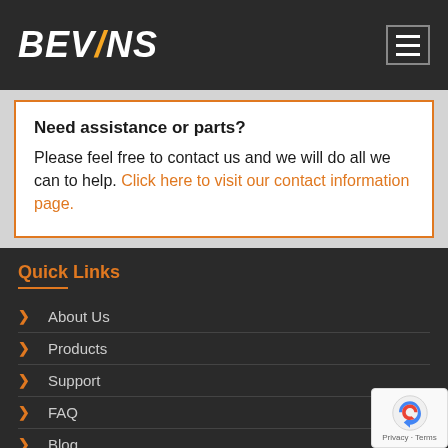BEVINS
Need assistance or parts? Please feel free to contact us and we will do all we can to help. Click here to visit our contact information page.
Quick Links
About Us
Products
Support
FAQ
Blog
Contact Us